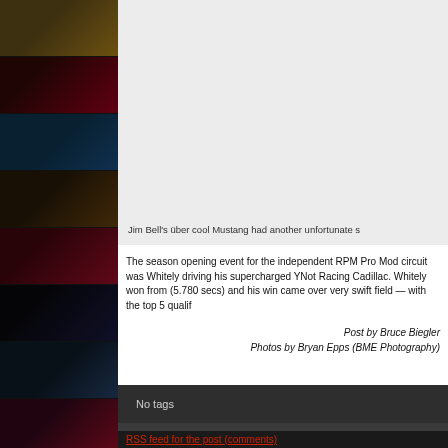[Figure (photo): Sidebar with thumbnail images of cars/racing vehicles stacked vertically]
[Figure (photo): Large image area showing Jim Bell's über cool Mustang, light gray background placeholder]
Jim Bell's über cool Mustang had another unfortunate s
The season opening event for the independent RPM Pro Mod circuit was Whitely driving his supercharged YNot Racing Cadillac. Whitely won from (5.780 secs) and his win came over very swift field — with the top 5 qualif
Post by Bruce Biegler
Photos by Bryan Epps (BME Photography)
No tags
RSS feed for the post (comments)